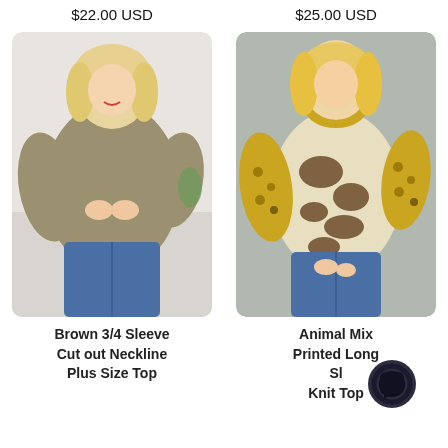$22.00 USD
$25.00 USD
[Figure (photo): Woman wearing a brown 3/4 sleeve top with cut-out neckline detail, plus size, with jeans]
[Figure (photo): Woman wearing an animal mix printed long sleeve knit top with cow print body and leopard print sleeves and collar]
Brown 3/4 Sleeve Cut out Neckline Plus Size Top
Animal Mix Printed Long Sleeve Knit Top